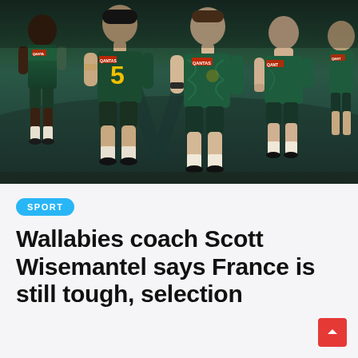[Figure (photo): Australian Wallabies rugby players in dark green jerseys with gold accents and Qantas branding, standing together on a field. One player wears number 5. Multiple players visible including a central figure in full kit.]
SPORT
Wallabies coach Scott Wisemantel says France is still tough, selection